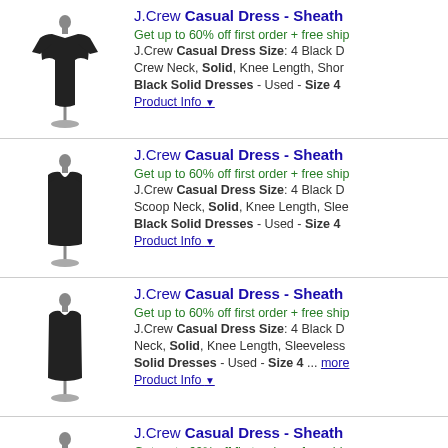[Figure (photo): Black J.Crew sheath dress on mannequin, short sleeve, crew neck]
J.Crew Casual Dress - Sheath
Get up to 60% off first order + free ship
J.Crew Casual Dress Size: 4 Black D Crew Neck, Solid, Knee Length, Shor Black Solid Dresses - Used - Size 4
Product Info ▼
[Figure (photo): Black J.Crew sheath dress on mannequin, sleeveless, scoop neck]
J.Crew Casual Dress - Sheath
Get up to 60% off first order + free ship
J.Crew Casual Dress Size: 4 Black D Scoop Neck, Solid, Knee Length, Slee Black Solid Dresses - Used - Size 4
Product Info ▼
[Figure (photo): Black J.Crew sheath dress on mannequin, sleeveless]
J.Crew Casual Dress - Sheath
Get up to 60% off first order + free ship
J.Crew Casual Dress Size: 4 Black D Neck, Solid, Knee Length, Sleeveless Solid Dresses - Used - Size 4 ... more
Product Info ▼
[Figure (photo): Black J.Crew sheath dress on mannequin, strapless]
J.Crew Casual Dress - Sheath
Get up to 60% off first order + free ship
J.Crew Casual Dress Size: 4 Black D Strapless, Solid, Knee Length, | J.Cre Dresses - Used - Size 4 ... more
Product Info ▼